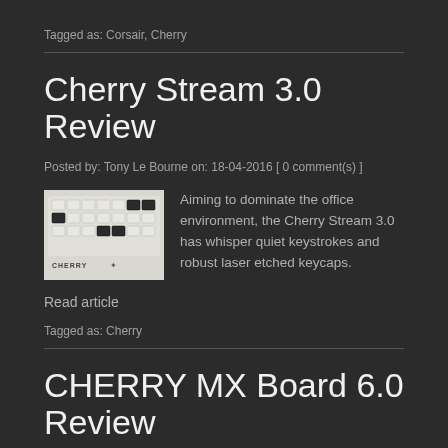Tagged as: Corsair, Cherry
Cherry Stream 3.0 Review
Posted by: Tony Le Bourne on: 18-04-2016 [ 0 comment(s) ]
[Figure (photo): Photo of a Cherry keyboard with white and dark keys showing the CHERRY logo]
Aiming to dominate the office environment, the Cherry Stream 3.0 has whisper quiet keystrokes and robust laser etched keycaps.
Read article
Tagged as: Cherry
CHERRY MX Board 6.0 Review
Posted by: Tony Le Bourne on: 16-06-2015 [ 0 comment(s) ]